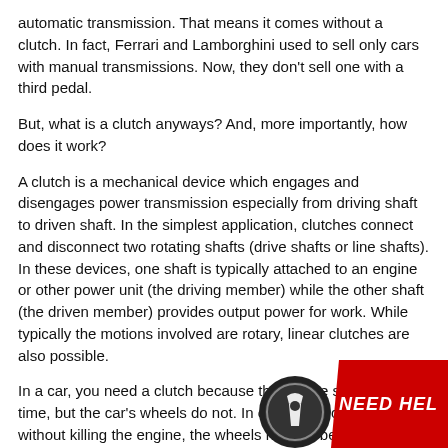automatic transmission. That means it comes without a clutch. In fact, Ferrari and Lamborghini used to sell only cars with manual transmissions. Now, they don't sell one with a third pedal.
But, what is a clutch anyways? And, more importantly, how does it work?
A clutch is a mechanical device which engages and disengages power transmission especially from driving shaft to driven shaft. In the simplest application, clutches connect and disconnect two rotating shafts (drive shafts or line shafts). In these devices, one shaft is typically attached to an engine or other power unit (the driving member) while the other shaft (the driven member) provides output power for work. While typically the motions involved are rotary, linear clutches are also possible.
In a car, you need a clutch because the engine spins all the time, but the car's wheels do not. In order for a car to stop without killing the engine, the wheels need to be disconnected from the engine somehow. The clutch allows us to smoothly engage a spinning engine to a non-spinning transmission by controlling the slippage between them.
When the clutch pedal is pressed, a cable or hyd on the release fork, which presses the throw-ou
[Figure (logo): Circular logo with stylized 'T' or wrench icon in black and white, alongside red banner with white italic bold text reading 'NEED HEL']